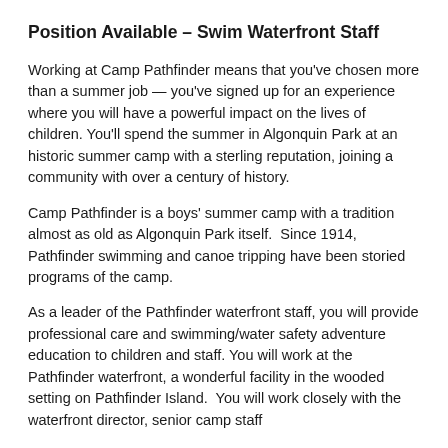Position Available – Swim Waterfront Staff
Working at Camp Pathfinder means that you've chosen more than a summer job — you've signed up for an experience where you will have a powerful impact on the lives of children. You'll spend the summer in Algonquin Park at an historic summer camp with a sterling reputation, joining a community with over a century of history.
Camp Pathfinder is a boys' summer camp with a tradition almost as old as Algonquin Park itself.  Since 1914, Pathfinder swimming and canoe tripping have been storied programs of the camp.
As a leader of the Pathfinder waterfront staff, you will provide professional care and swimming/water safety adventure education to children and staff. You will work at the Pathfinder waterfront, a wonderful facility in the wooded setting on Pathfinder Island.  You will work closely with the waterfront director, senior camp staff